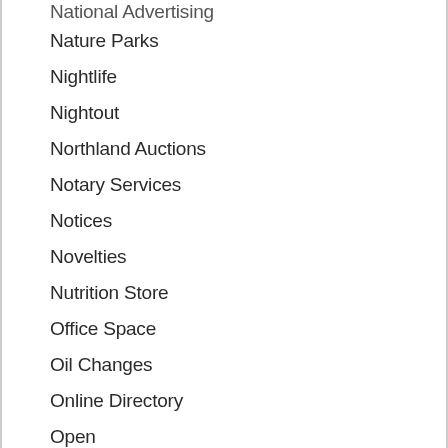National Advertising
Nature Parks
Nightlife
Nightout
Northland Auctions
Notary Services
Notices
Novelties
Nutrition Store
Office Space
Oil Changes
Online Directory
Open
Opportunities
Organics
Organizations